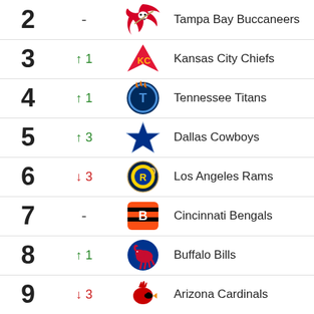| Rank | Change | Logo | Team |
| --- | --- | --- | --- |
| 2 | - |  | Tampa Bay Buccaneers |
| 3 | ↑ 1 |  | Kansas City Chiefs |
| 4 | ↑ 1 |  | Tennessee Titans |
| 5 | ↑ 3 |  | Dallas Cowboys |
| 6 | ↓ 3 |  | Los Angeles Rams |
| 7 | - |  | Cincinnati Bengals |
| 8 | ↑ 1 |  | Buffalo Bills |
| 9 | ↓ 3 |  | Arizona Cardinals |